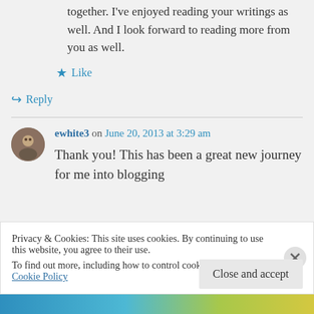together. I've enjoyed reading your writings as well. And I look forward to reading more from you as well.
★ Like
↪ Reply
ewhite3 on June 20, 2013 at 3:29 am
Thank you! This has been a great new journey for me into blogging
Privacy & Cookies: This site uses cookies. By continuing to use this website, you agree to their use.
To find out more, including how to control cookies, see here: Cookie Policy
Close and accept